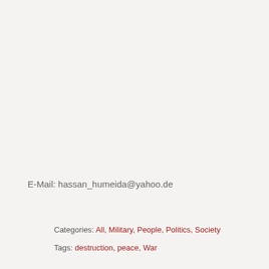E-Mail: hassan_humeida@yahoo.de
Categories: All, Military, People, Politics, Society
Tags: destruction, peace, War